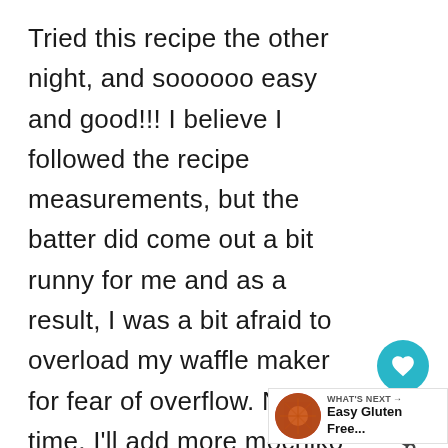Tried this recipe the other night, and soooooo easy and good!!! I believe I followed the recipe measurements, but the batter did come out a bit runny for me and as a result, I was a bit afraid to overload my waffle maker for fear of overflow. Next time, I'll add more mochiko as Relle suggested in a comment reply. Nevertheless though I came out with hole-ly waffles, it still cooked well and my family loved it Oh and the glaze takes this ove edge!!! Remembering it for the next
[Figure (infographic): Teal circular heart/like button with 4.6K count and a share icon below it on the right sidebar]
[Figure (infographic): WHAT'S NEXT banner with a circular food photo and text 'Easy Gluten Free...']